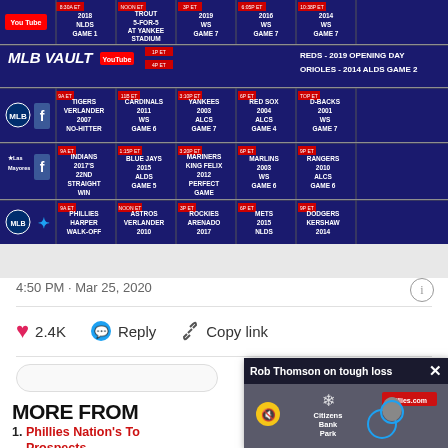[Figure (screenshot): MLB schedule grid showing YouTube, MLBVault, Facebook and Twitter broadcast listings including games such as 2018 NLDS Game 1, Trout 5-for-5 at Yankee Stadium, 2019 WS Game 7, 2016 WS Game 7, 2014 WS Game 7, REDS 2019 Opening Day, ORIOLES 2014 ALDS Game 2, Tigers Verlander 2007 No-Hitter, Cardinals 2011 WS Game 6, Yankees 2003 ALCS Game 7, Red Sox 2004 ALCS Game 4, D-Backs 2001 WS Game 7, Indians 2017 22nd Straight Win, Blue Jays 2015 ALDS Game 5, Mariners King Felix 2012 Perfect Game, Marlins 2003 WS Game 6, Rangers 2010 ALCS Game 6, Phillies Harper Walk-Off, Astros Verlander, Rockies Arenado 2017, Mets 2015, Dodgers Kershaw]
4:50 PM · Mar 25, 2020
2.4K
Reply
Copy link
MORE FROM
1. Phillies Nation's To Prospects
[Figure (screenshot): Rob Thomson on tough loss - video popup showing press conference at Citizens Bank Park with phillies.com branding visible]